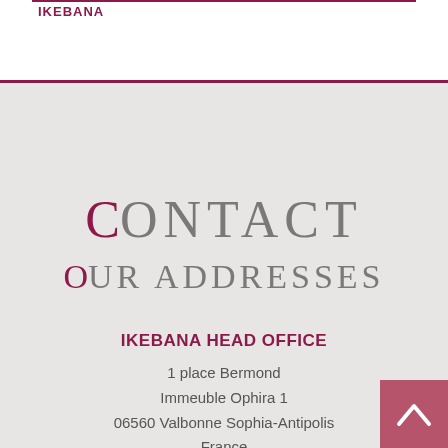IKEBANA
CONTACT
Our addresses
IKEBANA HEAD OFFICE
1 place Bermond
Immeuble Ophira 1
06560 Valbonne Sophia-Antipolis
France
Tel:+33(0)4 83 14 13 30
IKEBANA PARIS